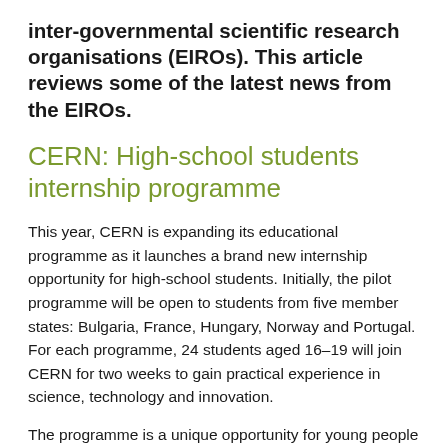inter-governmental scientific research organisations (EIROs). This article reviews some of the latest news from the EIROs.
CERN: High-school students internship programme
This year, CERN is expanding its educational programme as it launches a brand new internship opportunity for high-school students. Initially, the pilot programme will be open to students from five member states: Bulgaria, France, Hungary, Norway and Portugal. For each programme, 24 students aged 16–19 will join CERN for two weeks to gain practical experience in science, technology and innovation.
The programme is a unique opportunity for young people to experience CERN and strengthen their understanding of